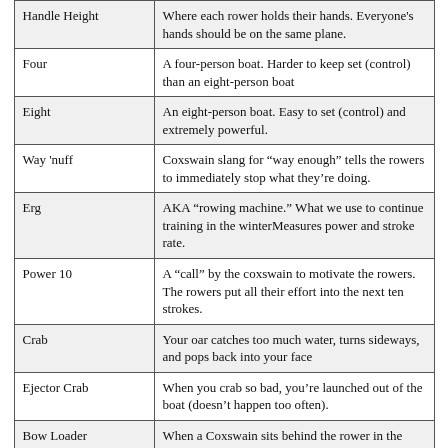| Term | Definition |
| --- | --- |
| Handle Height | Where each rower holds their hands. Everyone's hands should be on the same plane. |
| Four | A four-person boat. Harder to keep set (control) than an eight-person boat |
| Eight | An eight-person boat. Easy to set (control) and extremely powerful. |
| Way 'nuff | Coxswain slang for “way enough” tells the rowers to immediately stop what they’re doing. |
| Erg | AKA “rowing machine.” What we use to continue training in the winterMeasures power and stroke rate. |
| Power 10 | A “call” by the coxswain to motivate the rowers. The rowers put all their effort into the next ten strokes. |
| Crab | Your oar catches too much water, turns sideways, and pops back into your face |
| Ejector Crab | When you crab so bad, you’re launched out of the boat (doesn’t happen too often). |
| Bow Loader | When a Coxswain sits behind the rower in the bow |
| Stern Loader | When a Coxswain sits in the front of the boat |
| Seat Numbers | 2 seat, 3 seat, 4 seat, 5 seat, 6 seat, and 7 seat Numbers used to identify where rowers in the middle of the boat sit.
In rowing, we count backward. So, the higher the number, the closer to the front the rower is. |